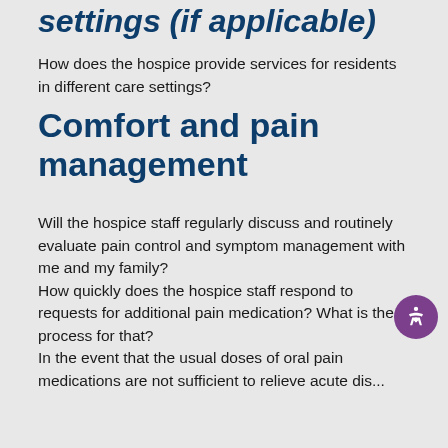settings (if applicable)
How does the hospice provide services for residents in different care settings?
Comfort and pain management
Will the hospice staff regularly discuss and routinely evaluate pain control and symptom management with me and my family? How quickly does the hospice staff respond to requests for additional pain medication? What is the process for that? In the event that the usual doses of oral pain medications are not sufficient to relieve acute dis...